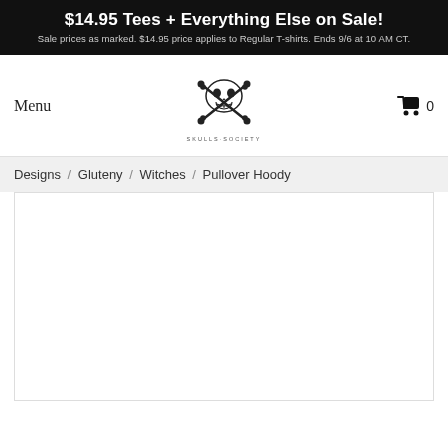$14.95 Tees + Everything Else on Sale! Sale prices as marked. $14.95 price applies to Regular T-shirts. Ends 9/6 at 10 AM CT.
Menu
[Figure (logo): Skulls Society logo with skull and crossbones illustration and text SKULLS-SOCIETY]
0
Designs / Gluteny / Witches / Pullover Hoody
[Figure (photo): Product image area - white/blank product display]